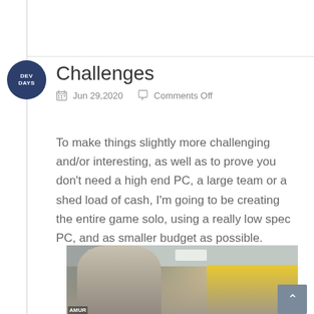Challenges
Jun 29,2020   Comments Off
To make things slightly more challenging and/or interesting, as well as to prove you don't need a high end PC, a large team or a shed load of cash, I'm going to be creating the entire game solo, using a really low spec PC, and as smaller budget as possible.
[Figure (photo): A man taking a selfie inside what appears to be a game or hobby store with yellow walls, display shelves with products, posters and ceiling lights visible in the background.]